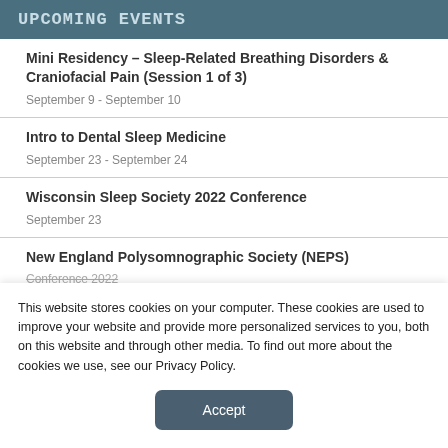UPCOMING EVENTS
Mini Residency – Sleep-Related Breathing Disorders & Craniofacial Pain (Session 1 of 3)
September 9 - September 10
Intro to Dental Sleep Medicine
September 23 - September 24
Wisconsin Sleep Society 2022 Conference
September 23
New England Polysomnographic Society (NEPS)
Conference 2022
This website stores cookies on your computer. These cookies are used to improve your website and provide more personalized services to you, both on this website and through other media. To find out more about the cookies we use, see our Privacy Policy.